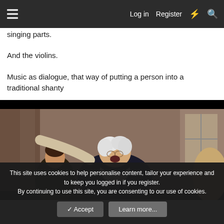Log in  Register
singing parts.
And the violins.
Music as dialogue, that way of putting a person into a traditional shanty
[Figure (photo): A still from a historical film or TV show showing a rotund older man with curly white hair wearing an 18th century dark coat with silver buttons, mouth open as if speaking or singing, flanked by other period-costumed figures.]
This site uses cookies to help personalise content, tailor your experience and to keep you logged in if you register.
By continuing to use this site, you are consenting to our use of cookies.
✓ Accept   Learn more...